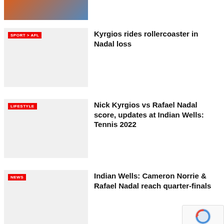[Figure (photo): Partial top image showing orange and blue sports uniforms, cropped at the top]
[Figure (photo): Gray placeholder thumbnail for Kyrgios/Nadal article]
SPORT > AFL
Kyrgios rides rollercoaster in Nadal loss
[Figure (photo): Gray placeholder thumbnail for Kyrgios vs Nadal score article]
LIFESTYLE
Nick Kyrgios vs Rafael Nadal score, updates at Indian Wells: Tennis 2022
[Figure (photo): Gray placeholder thumbnail for Indian Wells quarter-finals article]
NEWS
Indian Wells: Cameron Norrie & Rafael Nadal reach quarter-finals